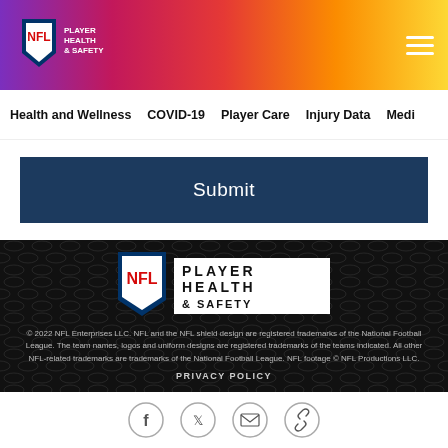NFL Player Health & Safety — Navigation header with gradient background
Health and Wellness   COVID-19   Player Care   Injury Data   Medi
Submit
[Figure (logo): NFL Player Health & Safety logo in white on dark background]
© 2022 NFL Enterprises LLC. NFL and the NFL shield design are registered trademarks of the National Football League. The team names, logos and uniform designs are registered trademarks of the teams indicated. All other NFL-related trademarks are trademarks of the National Football League. NFL footage © NFL Productions LLC.
PRIVACY POLICY
[Figure (infographic): Social media icons: Facebook, Twitter, Email, Link]